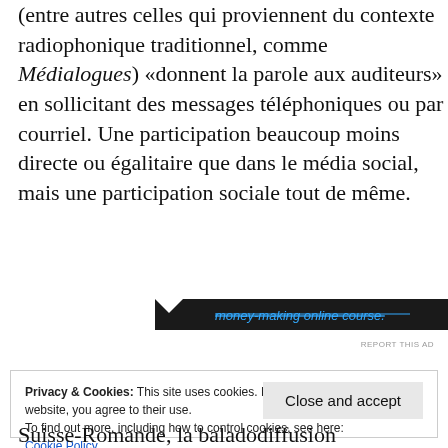(entre autres celles qui proviennent du contexte radiophonique traditionnel, comme Médialogues) «donnent la parole aux auditeurs» en sollicitant des messages téléphoniques ou par courriel. Une participation beaucoup moins directe ou égalitaire que dans le média social, mais une participation sociale tout de même.
[Figure (infographic): Dark advertisement banner with strikethrough blue italic text 'money-making online course.' with a notch/chevron shape on the left side]
REPORT THIS AD
Privacy & Cookies: This site uses cookies. By continuing to use this website, you agree to their use.
To find out more, including how to control cookies, see here:
Cookie Policy
Close and accept
Suisse-Romande, la baladodiffusion